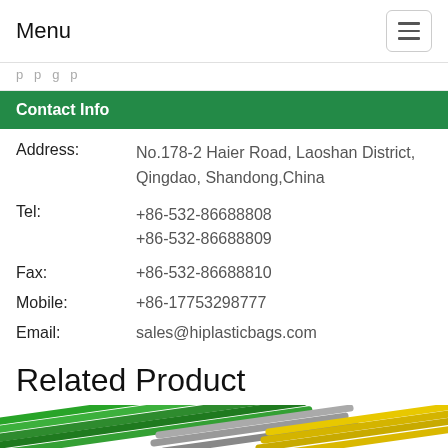Menu
p p g p
Contact Info
Address: No.178-2 Haier Road, Laoshan District, Qingdao, Shandong,China
Tel: +86-532-86688808 +86-532-86688809
Fax: +86-532-86688810
Mobile: +86-17753298777
Email: sales@hiplasticbags.com
Related Product
[Figure (photo): Colorful plastic straws or similar plastic bag products in green, yellow, grey colors, partially visible at the bottom of the page.]